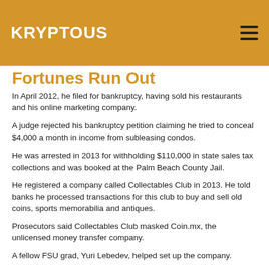KRYPTOUS
Fortunes Run Out
In April 2012, he filed for bankruptcy, having sold his restaurants and his online marketing company.
A judge rejected his bankruptcy petition claiming he tried to conceal $4,000 a month in income from subleasing condos.
He was arrested in 2013 for withholding $110,000 in state sales tax collections and was booked at the Palm Beach County Jail.
He registered a company called Collectables Club in 2013. He told banks he processed transactions for this club to buy and sell old coins, sports memorabilia and antiques.
Prosecutors said Collectables Club masked Coin.mx, the unlicensed money transfer company.
A fellow FSU grad, Yuri Lebedev, helped set up the company.
Prosecutors said Murgio and Lebedev both worked for Gery Shalon, an